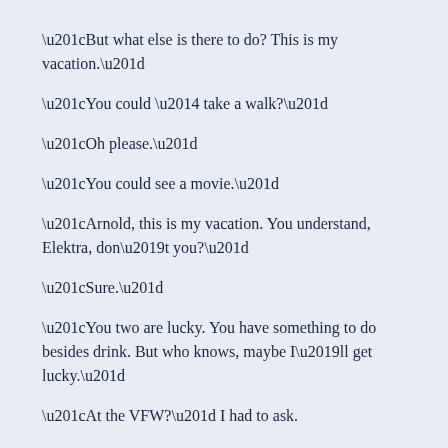“But what else is there to do? This is my vacation.”
“You could — take a walk?”
“Oh please.”
“You could see a movie.”
“Arnold, this is my vacation. You understand, Elektra, don’t you?”
“Sure.”
“You two are lucky. You have something to do besides drink. But who knows, maybe I’ll get lucky.”
“At the VFW?” I had to ask.
“Stranger things have happened, old boy.”
“Be careful there, Steve.”